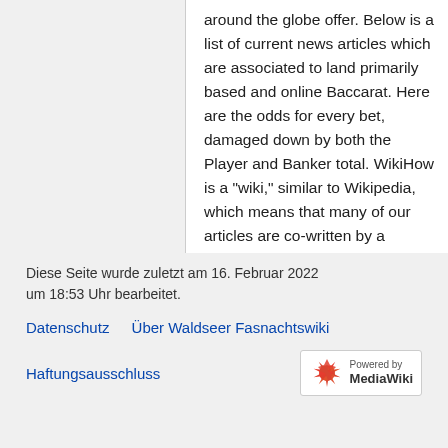around the globe offer. Below is a list of current news articles which are associated to land primarily based and online Baccarat. Here are the odds for every bet, damaged down by both the Player and Banker total. WikiHow is a "wiki," similar to Wikipedia, which means that many of our articles are co-written by a quantity of authors. To create this article, 25 people, Meteoroonline.blogspot.com some nameless, worked to edit and improve it over time.
Diese Seite wurde zuletzt am 16. Februar 2022 um 18:53 Uhr bearbeitet.
Datenschutz · Über Waldseer Fasnachtswiki · Haftungsausschluss